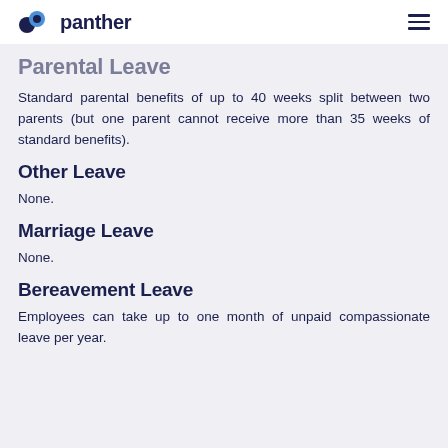panther
Parental Leave
Standard parental benefits of up to 40 weeks split between two parents (but one parent cannot receive more than 35 weeks of standard benefits).
Other Leave
None.
Marriage Leave
None.
Bereavement Leave
Employees can take up to one month of unpaid compassionate leave per year.